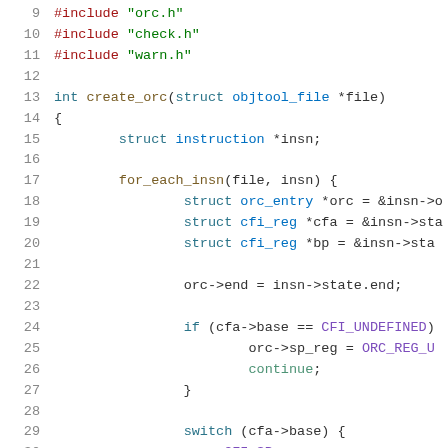Source code listing showing create_orc function in C, lines 9-30
[Figure (screenshot): C source code with syntax highlighting showing #include statements and create_orc function body with for_each_insn loop, orc entry struct declarations, conditional check for CFI_UNDEFINED, and switch statement on cfa->base]